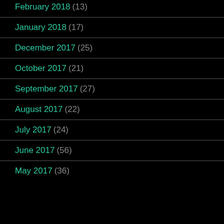February 2018 (13)
January 2018 (17)
December 2017 (25)
October 2017 (21)
September 2017 (27)
August 2017 (22)
July 2017 (24)
June 2017 (56)
May 2017 (36)